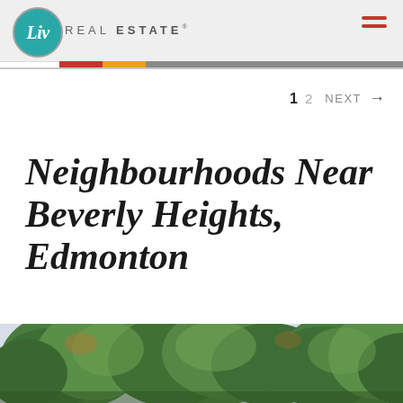[Figure (logo): Liv Real Estate logo with teal circle containing italic 'Liv' text and 'REAL ESTATE' text beside it]
1  2  NEXT →
Neighbourhoods Near Beverly Heights, Edmonton
[Figure (photo): Outdoor photo showing green trees with a light sky background]